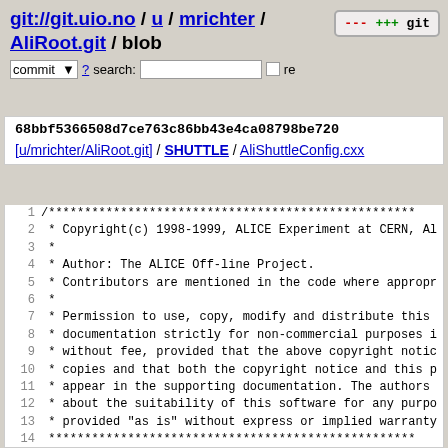git://git.uio.no / u / mrichter / AliRoot.git / blob
68bbf5366508d7ce763c86bb43e4ca08798be720
[u/mrichter/AliRoot.git] / SHUTTLE / AliShuttleConfig.cxx
1  /***********************************************
2   * Copyright(c) 1998-1999, ALICE Experiment at CERN, A
3   *
4   * Author: The ALICE Off-line Project.
5   * Contributors are mentioned in the code where appropr
6   *
7   * Permission to use, copy, modify and distribute this
8   * documentation strictly for non-commercial purposes i
9   * without fee, provided that the above copyright notic
10  * copies and that both the copyright notice and this p
11  * appear in the supporting documentation. The authors
12  * about the suitability of this software for any purpo
13  * provided "as is" without express or implied warranty
14  ************************************************
15
16  /*
17  $Log$
18  Revision 1.7  2006/07/20  09:54:40  jgrosseo
19  introducing status management: The processing per subde
20  after each step the status is stored on disk. If the sy
21  synchro...